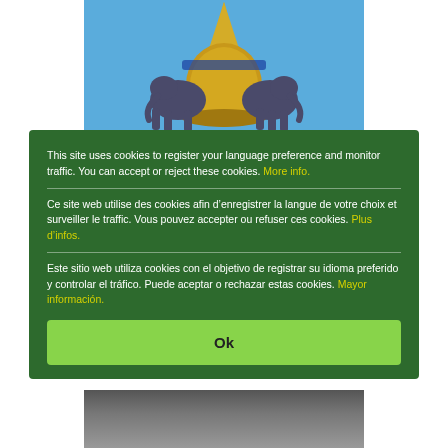[Figure (photo): Photo of a golden Buddhist stupa or temple ornament with elephant sculptures against a blue sky, seen from below]
This site uses cookies to register your language preference and monitor traffic. You can accept or reject these cookies. More info.
Ce site web utilise des cookies afin d'enregistrer la langue de votre choix et surveiller le traffic. Vous pouvez accepter ou refuser ces cookies. Plus d'infos.
Este sitio web utiliza cookies con el objetivo de registrar su idioma preferido y controlar el tráfico. Puede aceptar o rechazar estas cookies. Mayor información.
Ok
[Figure (photo): Partial photo of a street scene at the bottom of the page]